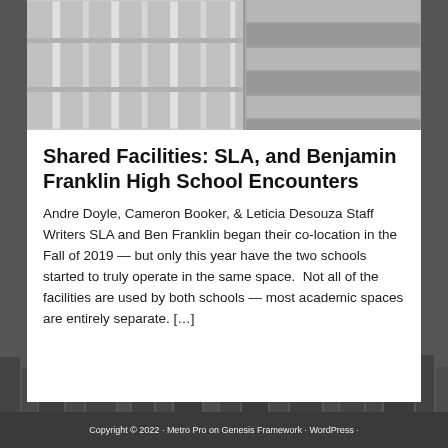[Figure (photo): Two-panel photo: left panel shows white metal railings/staircase structure, right panel shows concrete steps viewed from above]
Shared Facilities: SLA, and Benjamin Franklin High School Encounters
Andre Doyle, Cameron Booker, & Leticia Desouza Staff Writers SLA and Ben Franklin began their co-location in the Fall of 2019 — but only this year have the two schools started to truly operate in the same space.  Not all of the facilities are used by both schools — most academic spaces are entirely separate. […]
[Figure (photo): City skyline background image in dark grey tones]
Copyright © 2022 · Metro Pro on Genesis Framework · WordPress ·